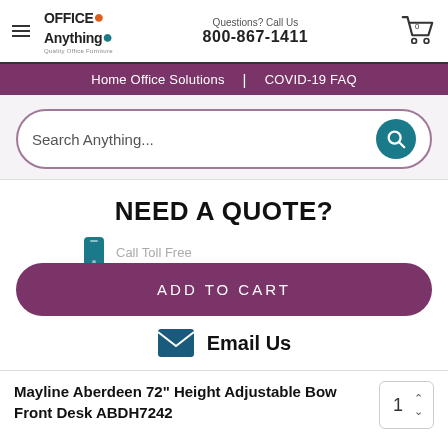Office Anything — Quality Office Furniture | Questions? Call Us 800-867-1411
Home Office Solutions | COVID-19 FAQ
Search Anything...
NEED A QUOTE?
Call Toll Free
ADD TO CART
Email Us
Mayline Aberdeen 72" Height Adjustable Bow Front Desk ABDH7242